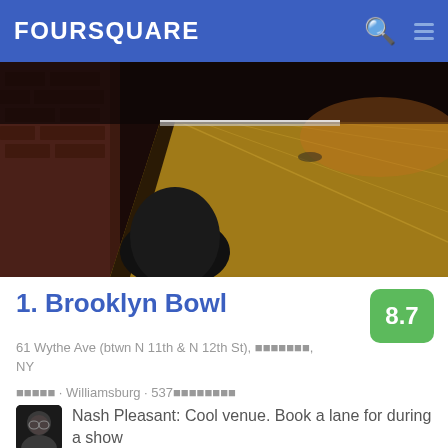FOURSQUARE
[Figure (photo): Interior photo of a bowling alley with long wooden lanes and brick walls, dimly lit with warm lighting]
1. Brooklyn Bowl
61 Wythe Ave (btwn N 11th & N 12th St), [redacted], NY
[redacted] · Williamsburg · 537[redacted]
Nash Pleasant: Cool venue. Book a lane for during a show
[Figure (photo): Dark atmospheric bar photo with bottles of liquor, a pink rose, and drinks on the counter]